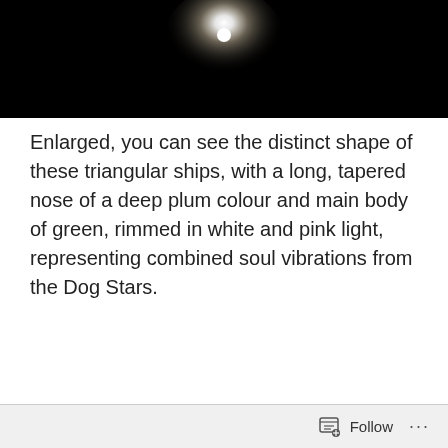[Figure (photo): Dark black background with a bright white glowing point of light near the center top, like a star or distant light source]
Enlarged, you can see the distinct shape of these triangular ships, with a long, tapered nose of a deep plum colour and main body of green, rimmed in white and pink light, representing combined soul vibrations from the Dog Stars.
[Figure (photo): Black background with a small glowing object showing green, teal, and pink/plum colors in a roughly triangular shape, smaller view]
[Figure (photo): Black background with a larger glowing object showing green, teal, white, and pink/plum colors in a roughly rounded triangular shape, enlarged view]
Follow ...